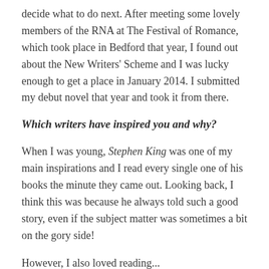decide what to do next. After meeting some lovely members of the RNA at The Festival of Romance, which took place in Bedford that year, I found out about the New Writers' Scheme and I was lucky enough to get a place in January 2014. I submitted my debut novel that year and took it from there.
Which writers have inspired you and why?
When I was young, Stephen King was one of my main inspirations and I read every single one of his books the minute they came out. Looking back, I think this was because he always told such a good story, even if the subject matter was sometimes a bit on the gory side!
However, I also loved reading...